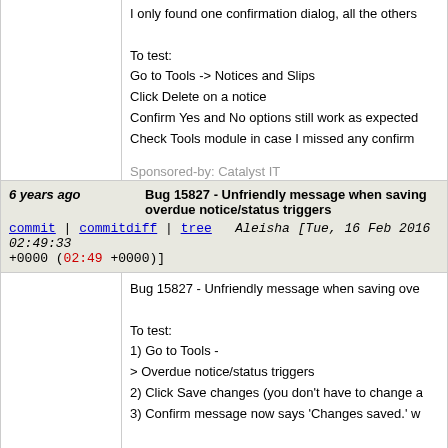I only found one confirmation dialog, all the others

To test:
Go to Tools -> Notices and Slips
Click Delete on a notice
Confirm Yes and No options still work as expected
Check Tools module in case I missed any confirm
Sponsored-by: Catalyst IT
Signed-off-by: Marc Véron <veron@veron.ch>
Signed-off-by: Jonathan Druart <jonathan.druart@bugs.koha-community.org>
Signed-off-by: Brendan Gallagher brendan@bywatersolutions.com
6 years ago	Bug 15827 - Unfriendly message when saving overdue notice/status triggers
commit | commitdiff | tree	Aleisha [Tue, 16 Feb 2016 02:49:33 +0000 (02:49 +0000)]
Bug 15827 - Unfriendly message when saving ove

To test:
1) Go to Tools -
> Overdue notice/status triggers
2) Click Save changes (you don't have to change a
3) Confirm message now says 'Changes saved.' w

Sponsored-by: Catalyst IT